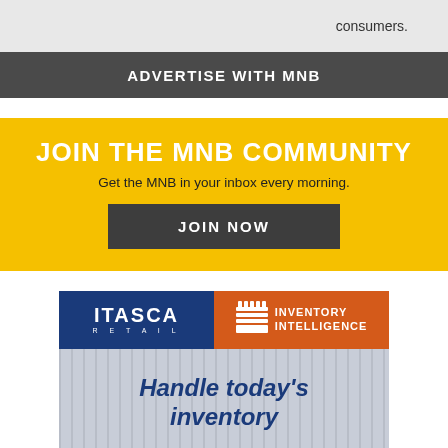consumers.
ADVERTISE WITH MNB
JOIN THE MNB COMMUNITY
Get the MNB in your inbox every morning.
JOIN NOW
[Figure (logo): Itasca Retail Inventory Intelligence advertisement with logo and 'Handle today's inventory' tagline]